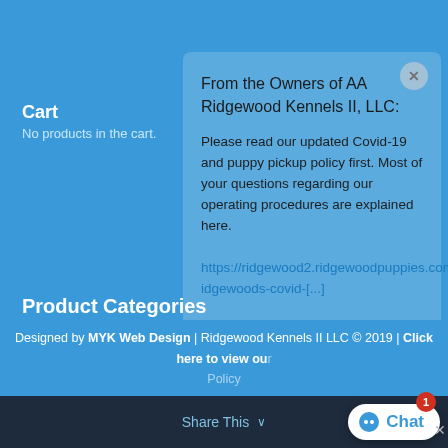Cart
No products in the cart.
Product Categories
Puppies for Sale in PA×
From the Owners of AA Ridgewood Kennels II, LLC:
Please read our updated Covid-19 and puppy pickup policy first. Most of your questions regarding our operating procedures are explained here. https://ridgewood2.ridgewoodpuppies.com/ridgewoods-covid-[...]
Type here and press enter.
[Figure (screenshot): Social media icons: Facebook, Twitter, RSS feed]
Designed by MYK Web Design | Ridgewood Kennels II LLC © 2019 | Click here to view our Policy
Share This
Chat 1